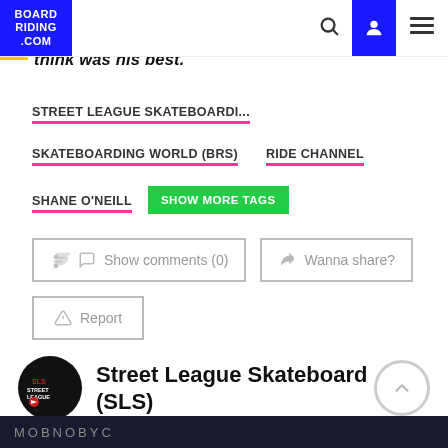BOARD RIDING .COM — navigation header with search, user, and menu icons
think was his best.
STREET LEAGUE SKATEBOARDI...
SKATEBOARDING WORLD (BRS)
RIDE CHANNEL
SHANE O'NEILL
SHOW MORE TAGS
Show comments (0)
Wanna share?
Report
Street League Skateboard (SLS)